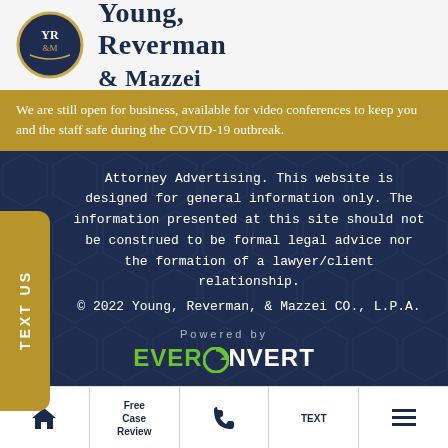[Figure (logo): Young, Reverman & Mazzei law firm logo — dark navy oval with YR&M initials, next to firm name in large serif font]
We are still open for business, available for video conferences to keep you and the staff safe during the COVID-19 outbreak.
Attorney Advertising. This website is designed for general information only. The information presented at this site should not be construed to be formal legal advice nor the formation of a lawyer/client relationship.
© 2022 Young, Reverman, & Mazzei CO., L.P.A.
[Figure (logo): EverConvert logo — green EVER and white CONVERT text with a green circular arrow icon replacing the O]
Free Case Review | TEXT